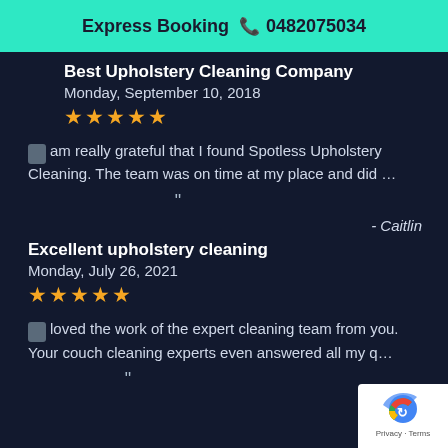Express Booking 📞 0482075034
Best Upholstery Cleaning Company
Monday, September 10, 2018
★★★★★
I am really grateful that I found Spotless Upholstery Cleaning. The team was on time at my place and did …
"
- Caitlin
Excellent upholstery cleaning
Monday, July 26, 2021
★★★★★
I loved the work of the expert cleaning team from you. Your couch cleaning experts even answered all my q…
"
[Figure (logo): reCAPTCHA badge with Privacy and Terms links]